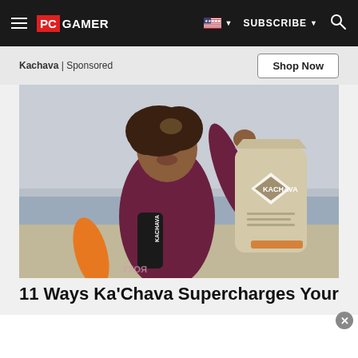PC GAMER | SUBSCRIBE
Kachava | Sponsored
Shop Now
[Figure (photo): Woman in a burgundy wetsuit on a beach, laughing and holding a Kachava tumbler and bag of Ka'Chava superfood blend. Orange surfboard visible to the left. Beach and grey sky in the background.]
11 Ways Ka'Chava Supercharges Your